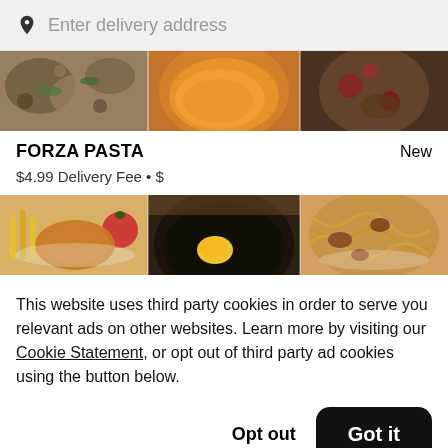Enter delivery address
[Figure (photo): Food photos collage showing pasta dishes and various foods]
FORZA PASTA
New
$4.99 Delivery Fee • $
[Figure (photo): Food photos collage showing fried food, egg dish, and noodles]
This website uses third party cookies in order to serve you relevant ads on other websites. Learn more by visiting our Cookie Statement, or opt out of third party ad cookies using the button below.
Opt out
Got it